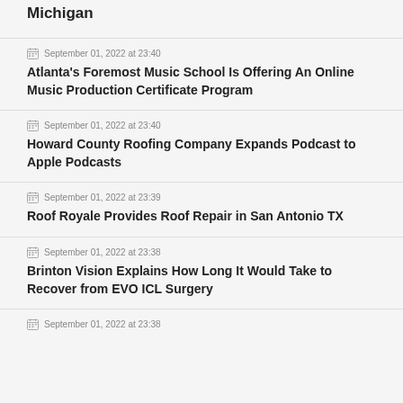Michigan
September 01, 2022 at 23:40
Atlanta's Foremost Music School Is Offering An Online Music Production Certificate Program
September 01, 2022 at 23:40
Howard County Roofing Company Expands Podcast to Apple Podcasts
September 01, 2022 at 23:39
Roof Royale Provides Roof Repair in San Antonio TX
September 01, 2022 at 23:38
Brinton Vision Explains How Long It Would Take to Recover from EVO ICL Surgery
September 01, 2022 at 23:38